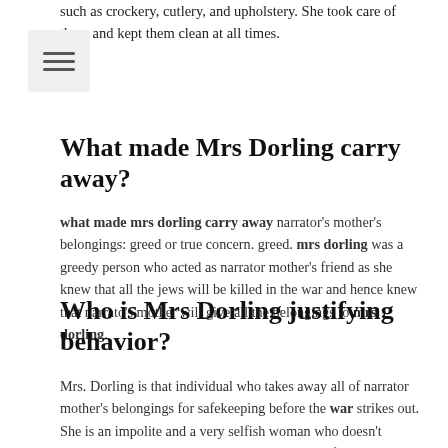such as crockery, cutlery, and upholstery. She took care of them and kept them clean at all times.
What made Mrs Dorling carry away?
what made mrs dorling carry away narrator's mother's belongings: greed or true concern. greed. mrs dorling was a greedy person who acted as narrator mother's friend as she knew that all the jews will be killed in the war and hence knew that narrato's mother will give all the belongings to mrs dorling.
Who is Mrs Dorling justifying behavior?
Mrs. Dorling is that individual who takes away all of narrator mother's belongings for safekeeping before the war strikes out. She is an impolite and a very selfish woman who doesn't recognize the narrator when the narrator comes for retrieving the things given to her before the war.